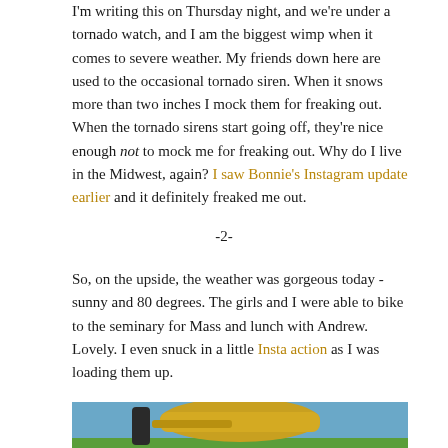I'm writing this on Thursday night, and we're under a tornado watch, and I am the biggest wimp when it comes to severe weather. My friends down here are used to the occasional tornado siren. When it snows more than two inches I mock them for freaking out. When the tornado sirens start going off, they're nice enough not to mock me for freaking out. Why do I live in the Midwest, again? I saw Bonnie's Instagram update earlier and it definitely freaked me out.
-2-
So, on the upside, the weather was gorgeous today - sunny and 80 degrees. The girls and I were able to bike to the seminary for Mass and lunch with Andrew. Lovely. I even snuck in a little Insta action as I was loading them up.
[Figure (photo): A partial photo showing what appears to be bicycle parts or bags in yellow/gold color against a blue and green background, cropped at the bottom of the page.]